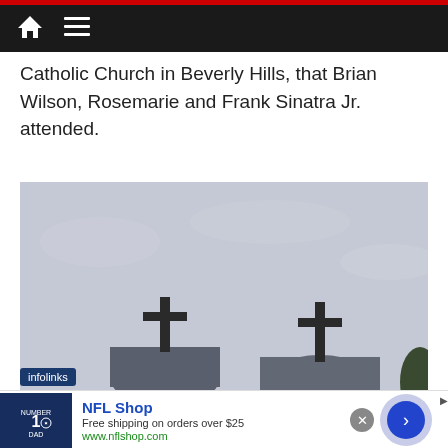Navigation bar with home and menu icons
Catholic Church in Beverly Hills, that Brian Wilson, Rosemarie and Frank Sinatra Jr. attended.
[Figure (photo): Photograph of two church domes with crosses against a grey overcast sky, apparently the Catholic Church in Beverly Hills.]
infolinks
NFL Shop
Free shipping on orders over $25
www.nflshop.com